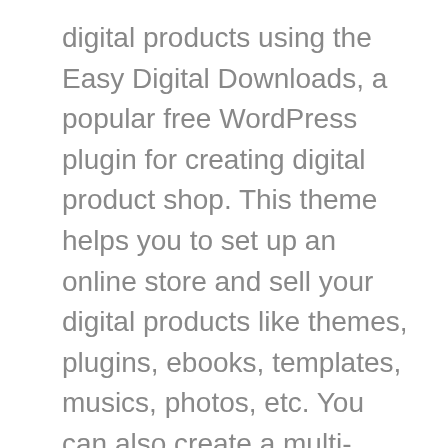digital products using the Easy Digital Downloads, a popular free WordPress plugin for creating digital product shop. This theme helps you to set up an online store and sell your digital products like themes, plugins, ebooks, templates, musics, photos, etc. You can also create a multi-author online shop using the premium extensions of Easy Digital Downloads plugin. You can easily create a visually appealing digital online shop with this theme without any prior knowledge or experience of coding.